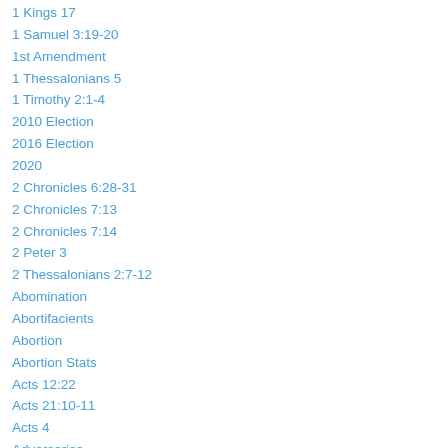1 Kings 17
1 Samuel 3:19-20
1st Amendment
1 Thessalonians 5
1 Timothy 2:1-4
2010 Election
2016 Election
2020
2 Chronicles 6:28-31
2 Chronicles 7:13
2 Chronicles 7:14
2 Peter 3
2 Thessalonians 2:7-12
Abomination
Abortifacients
Abortion
Abortion Stats
Acts 12:22
Acts 21:10-11
Acts 4
Adversaries